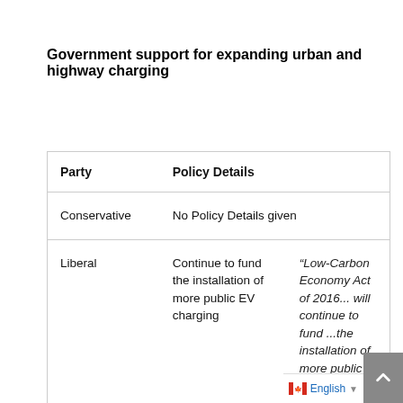Government support for expanding urban and highway charging
| Party | Policy Details |  |
| --- | --- | --- |
| Conservative | No Policy Details given |  |
| Liberal | Continue to fund the installation of more public EV charging | “Low-Carbon Economy Act of 2016... will continue to fund ...the installation of more public EV charging stations” [Source: |